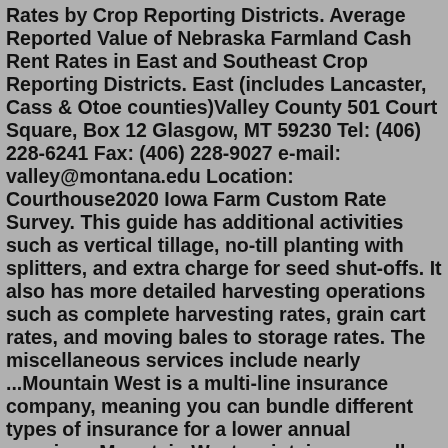Rates by Crop Reporting Districts. Average Reported Value of Nebraska Farmland Cash Rent Rates in East and Southeast Crop Reporting Districts. East (includes Lancaster, Cass & Otoe counties)Valley County 501 Court Square, Box 12 Glasgow, MT 59230 Tel: (406) 228-6241 Fax: (406) 228-9027 e-mail: valley@montana.edu Location: Courthouse2020 Iowa Farm Custom Rate Survey. This guide has additional activities such as vertical tillage, no-till planting with splitters, and extra charge for seed shut-offs. It also has more detailed harvesting operations such as complete harvesting rates, grain cart rates, and moving bales to storage rates. The miscellaneous services include nearly ...Mountain West is a multi-line insurance company, meaning you can bundle different types of insurance for a lower annual premium. Mountain West maintains a small-business operation with 170 ...CSU Extension publishes 2021 Agriculture Custom Rates Report. 25 Apr, 2022. By Griffin Moores. Every year, Colorado State University Extension conducts a survey of the custom